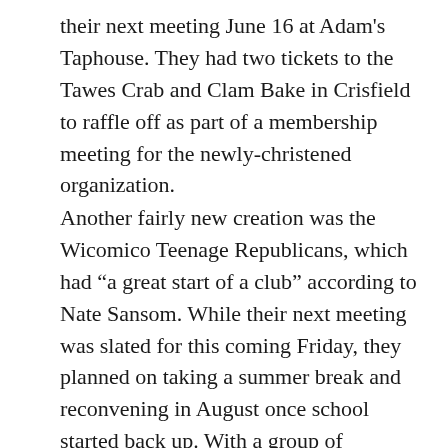their next meeting June 16 at Adam's Taphouse. They had two tickets to the Tawes Crab and Clam Bake in Crisfield to raffle off as part of a membership meeting for the newly-christened organization.
Another fairly new creation was the Wicomico Teenage Republicans, which had “a great start of a club” according to Nate Sansom. While their next meeting was slated for this coming Friday, they planned on taking a summer break and reconvening in August once school started back up. With a group of “passionate people, happy to be involved,” Sansom believed his group would focus on statewide campaigns like Kathy Szeliga’s as well as the local We Decide